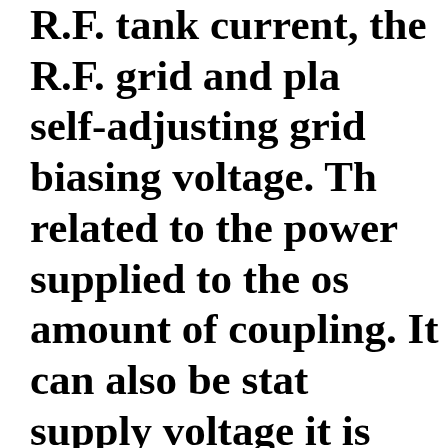R.F. tank current, the R.F. grid and pla self-adjusting grid biasing voltage. Th related to the power supplied to the os amount of coupling. It can also be stat supply voltage it is impossible to chan currents or voltages in the oscillator ci all other values. This means that an in the load to the oscillator circuit will af currents and voltages, that is, their rela